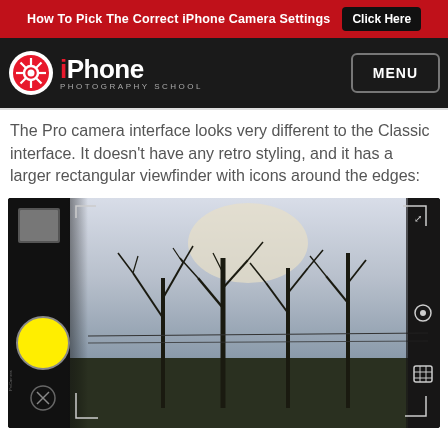How To Pick The Correct iPhone Camera Settings   Click Here
[Figure (logo): iPhone Photography School logo with red shutter icon, white iPhone text, and MENU button on dark navbar]
The Pro camera interface looks very different to the Classic interface. It doesn't have any retro styling, and it has a larger rectangular viewfinder with icons around the edges:
[Figure (screenshot): Pro camera interface screenshot showing a rectangular viewfinder with bare winter trees visible, a large yellow circle shutter button on the left, camera icons around the edges on a dark/black UI border, sky with light visible at top]